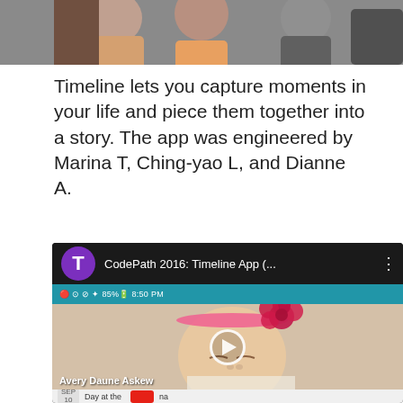[Figure (photo): Top portion of a group photo showing people standing together, cropped at the bottom of frame]
Timeline lets you capture moments in your life and piece them together into a story. The app was engineered by Marina T, Ching-yao L, and Dianne A.
[Figure (screenshot): Screenshot of YouTube app showing CodePath 2016: Timeline App video. The video thumbnail shows a sleeping baby with a pink flower headband. Below the video is a Timeline app interface showing a SEP 10 entry with text 'Day at the...']